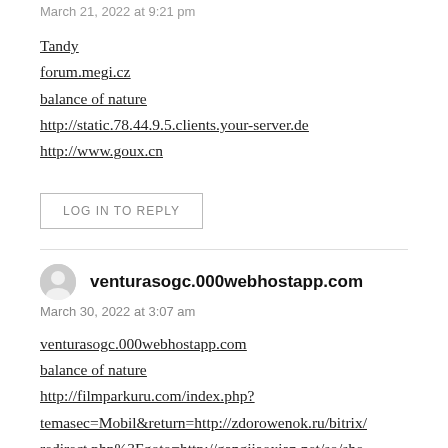March 21, 2022 at 9:21 pm
Tandy
forum.megi.cz
balance of nature
http://static.78.44.9.5.clients.your-server.de
http://www.goux.cn
LOG IN TO REPLY
venturasogc.000webhostapp.com
March 30, 2022 at 3:07 am
venturasogc.000webhostapp.com
balance of nature
http://filmparkuru.com/index.php?temasec=Mobil&return=http://zdorowenok.ru/bitrix/redirect.php%3Fgoto=http://gangjiaoxian.net/so/show.asp%3Furl=http://thdt.vn/convert/convert.php%3Fl